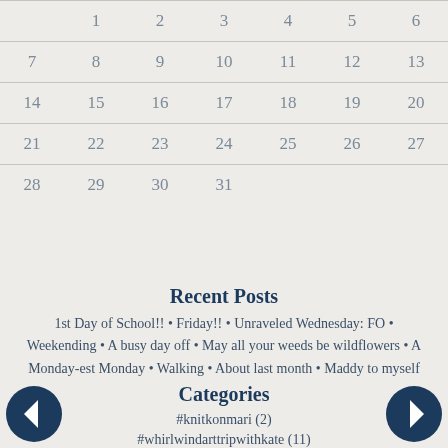|  | 1 | 2 | 3 | 4 | 5 | 6 |
| 7 | 8 | 9 | 10 | 11 | 12 | 13 |
| 14 | 15 | 16 | 17 | 18 | 19 | 20 |
| 21 | 22 | 23 | 24 | 25 | 26 | 27 |
| 28 | 29 | 30 | 31 |  |  |  |
Recent Posts
1st Day of School!! • Friday!! • Unraveled Wednesday: FO • Weekending • A busy day off • May all your weeds be wildflowers • A Monday-est Monday • Walking • About last month • Maddy to myself
Categories
#knitkonmari (2)
#whirlwindarttripwithkate (11)